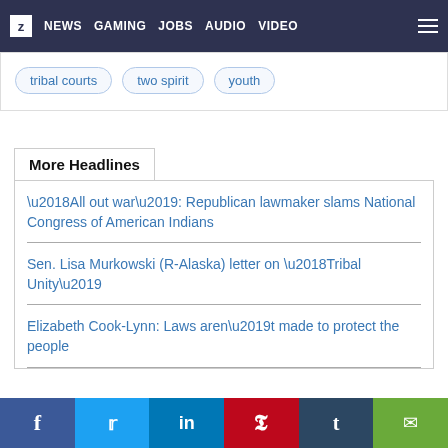Z NEWS GAMING JOBS AUDIO VIDEO
tribal courts
two spirit
youth
More Headlines
‘All out war’: Republican lawmaker slams National Congress of American Indians
Sen. Lisa Murkowski (R-Alaska) letter on ‘Tribal Unity’
Elizabeth Cook-Lynn: Laws aren’t made to protect the people